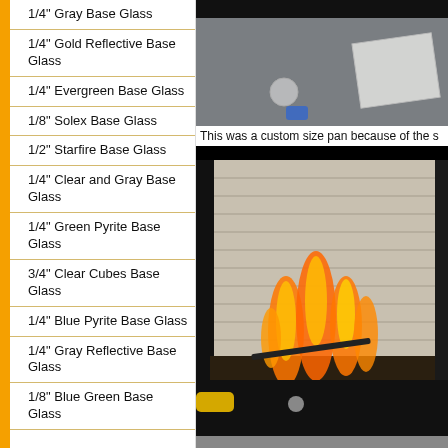1/4" Gray Base Glass
1/4" Gold Reflective Base Glass
1/4" Evergreen Base Glass
1/8" Solex Base Glass
1/2" Starfire Base Glass
1/4" Clear and Gray Base Glass
1/4" Green Pyrite Base Glass
3/4" Clear Cubes Base Glass
1/4" Blue Pyrite Base Glass
1/4" Gray Reflective Base Glass
1/8" Blue Green Base Glass
[Figure (photo): Top-down view of a custom size pan on a surface with some items]
This was a custom size pan because of the s
[Figure (photo): Fireplace with flames burning inside, viewed through open glass door, with yellow pipe visible at bottom]